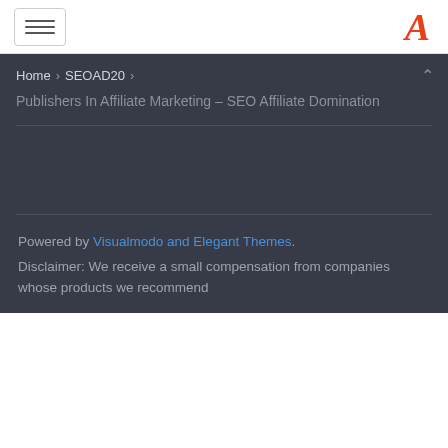≡  [hamburger menu]  |  A [logo]
Home › SEOAD20 ›
Publishers In Affiliate Marketing – SEO Affiliate Domination
Powered by Visualmodo and Elegant Themes. Disclaimer: We receive a small compensation from companies whose products we recommend